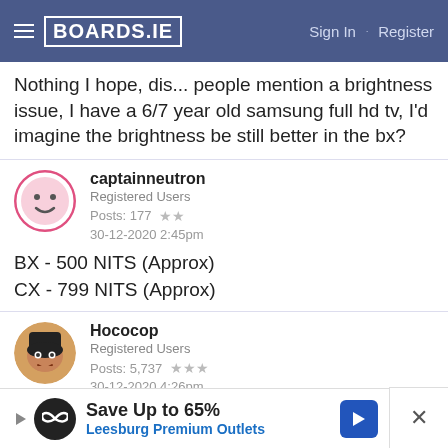BOARDS.IE  Sign In · Register
Nothing I hope, dis... people mention a brightness issue, I have a 6/7 year old samsung full hd tv, I'd imagine the brightness be still better in the bx?
captainneutron
Registered Users
Posts: 177 ★★
30-12-2020 2:45pm
BX - 500 NITS (Approx)
CX - 799 NITS (Approx)
Hococop
Registered Users
Posts: 5,737 ★★★
30-12-2020 4:26pm
Save Up to 65%
Leesburg Premium Outlets